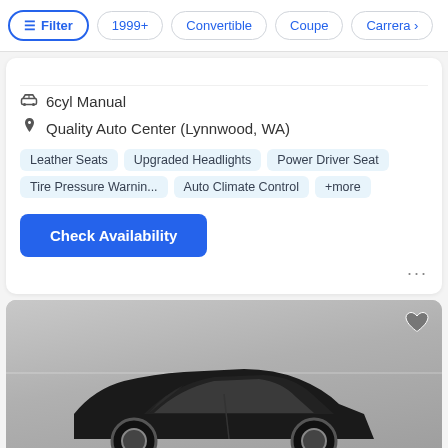Filter | 1999+ | Convertible | Coupe | Carrera >
6cyl Manual
Quality Auto Center (Lynnwood, WA)
Leather Seats
Upgraded Headlights
Power Driver Seat
Tire Pressure Warnin...
Auto Climate Control
+more
Check Availability
[Figure (photo): Dark-colored Porsche coupe photographed from the rear three-quarter angle in a grey indoor setting]